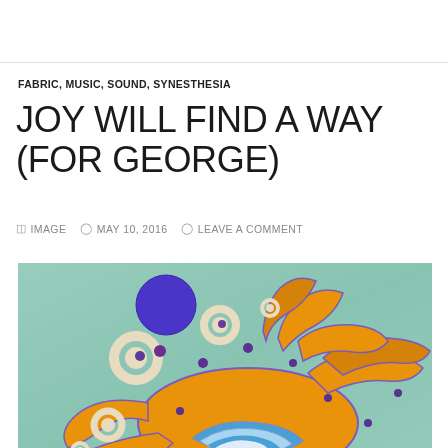FABRIC, MUSIC, SOUND, SYNESTHESIA
JOY WILL FIND A WAY (FOR GEORGE)
IMAGE  MAY 10, 2016  LEAVE A COMMENT
[Figure (photo): A fabric art piece on teal/mint background showing an abstract sun-like design in orange/gold with blue concentric curves, white rings, and a large purple circle, with purple outlines throughout.]